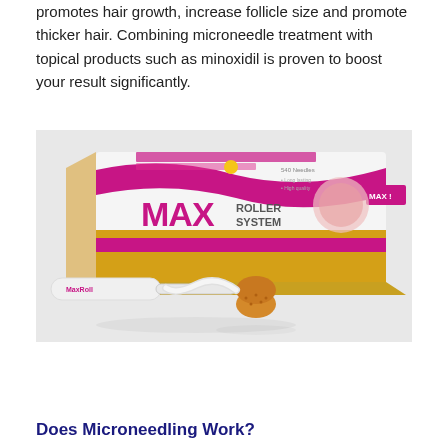promotes hair growth, increase follicle size and promote thicker hair. Combining microneedle treatment with topical products such as minoxidil is proven to boost your result significantly.
[Figure (photo): Product photo of MAX Roller System derma roller with its white, pink, and gold branded box. A white derma roller with a gold microneedle head is placed in front of the box.]
Does Microneedling Work?